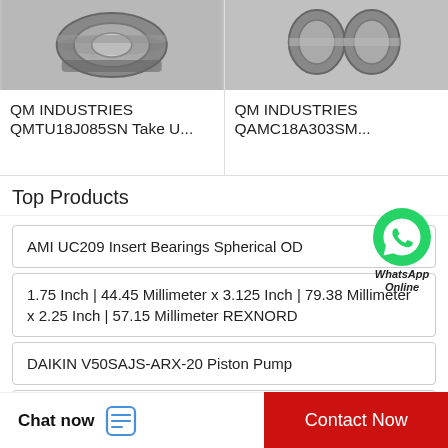[Figure (photo): Grayscale photo of a metallic bearing/take-up unit component]
[Figure (photo): Grayscale photo of metallic cylindrical roller/bearing components]
QM INDUSTRIES QMTU18J085SN Take U...
QM INDUSTRIES QAMC18A303SM...
Top Products
AMI UC209 Insert Bearings Spherical OD
1.75 Inch | 44.45 Millimeter x 3.125 Inch | 79.38 Millimeter x 2.25 Inch | 57.15 Millimeter REXNORD
DAIKIN V50SAJS-ARX-20 Piston Pump
DAIKIN V4L V8A1L 20 V8 Series Piston P...
[Figure (logo): WhatsApp green circle icon with phone handset]
WhatsApp Online
Chat now
Contact Now